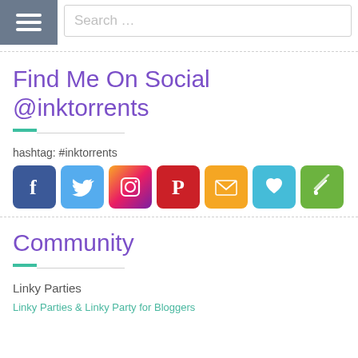Search …
Find Me On Social @inktorrents
hashtag: #inktorrents
[Figure (infographic): Row of 7 social media icons: Facebook (blue), Twitter (light blue), Instagram (colorful camera), Pinterest (pink/red), email/envelope (yellow-orange), heart/Bloglovin (light blue), Feedly (green)]
Community
Linky Parties